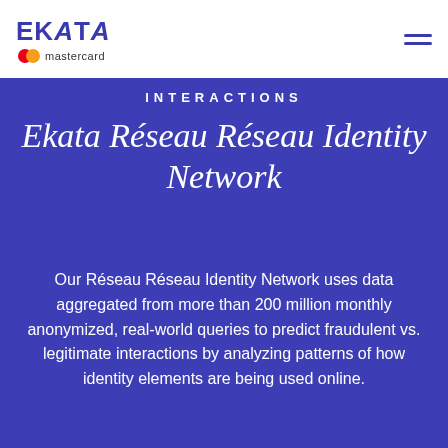Ekata mastercard
INTERACTIONS
Ekata Réseau Réseau Identity Network
Our Réseau Réseau Identity Network uses data aggregated from more than 200 million monthly anonymized, real-world queries to predict fraudulent vs. legitimate interactions by analyzing patterns of how identity elements are being used online.